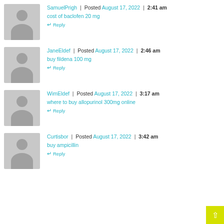SamuelPrigh | Posted August 17, 2022 | 2:41 am
cost of baclofen 20 mg
Reply
JaneEldef | Posted August 17, 2022 | 2:46 am
buy fildena 100 mg
Reply
WimEldef | Posted August 17, 2022 | 3:17 am
where to buy allopurinol 300mg online
Reply
Curtisbor | Posted August 17, 2022 | 3:42 am
buy ampicillin
Reply